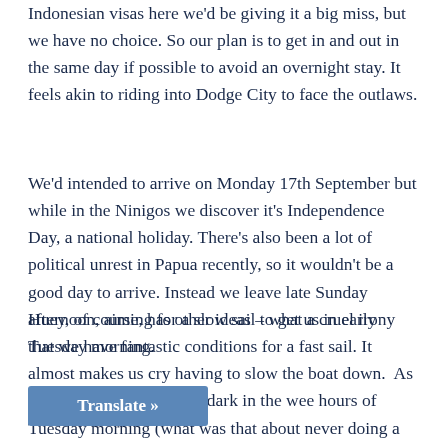Indonesian visas here we'd be giving it a big miss, but we have no choice. So our plan is to get in and out in the same day if possible to avoid an overnight stay. It feels akin to riding into Dodge City to face the outlaws.
We'd intended to arrive on Monday 17th September but while in the Ninigos we discover it's Independence Day, a national holiday. There's also been a lot of political unrest in Papua recently, so it wouldn't be a good day to arrive. Instead we leave late Sunday afternoon, aiming for a slow sail to get us in early Tuesday morning.
Huey, of course, has other ideas – what a cruel irony that we have fantastic conditions for a fast sail. It almost makes us cry having to slow the boat down.  As it is, we still arrive in the dark in the wee hours of Tuesday morning (what was that about never doing a night entry again??) ...fully pick our way into the harbour past ...go carriers. We drop the pick and set
Translate »